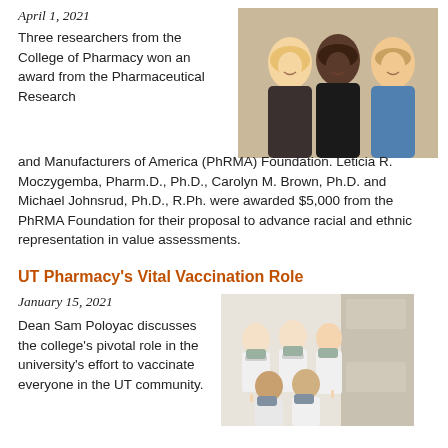April 1, 2021
Three researchers from the College of Pharmacy won an award from the Pharmaceutical Research and Manufacturers of America (PhRMA) Foundation. Leticia R. Moczygemba, Pharm.D., Ph.D., Carolyn M. Brown, Ph.D. and Michael Johnsrud, Ph.D., R.Ph. were awarded $5,000 from the PhRMA Foundation for their proposal to advance racial and ethnic representation in value assessments.
[Figure (photo): Photo of three researchers from the College of Pharmacy: two women and one man smiling]
UT Pharmacy's Vital Vaccination Role
January 15, 2021
Dean Sam Poloyac discusses the college's pivotal role in the university's effort to vaccinate everyone in the UT community.
[Figure (photo): Group photo of pharmacy staff and students in white coats and masks at a vaccination site]